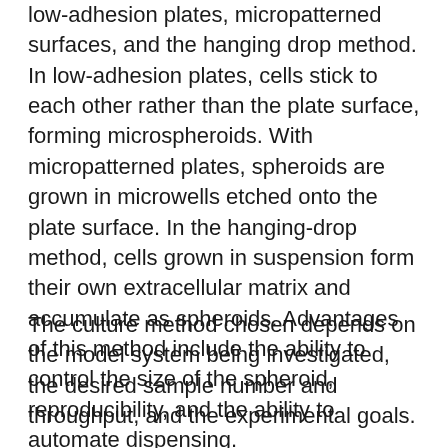low-adhesion plates, micropatterned surfaces, and the hanging drop method. In low-adhesion plates, cells stick to each other rather than the plate surface, forming microspheroids. With micropatterned plates, spheroids are grown in microwells etched onto the plate surface. In the hanging-drop method, cells grown in suspension form their own extracellular matrix and accumulate as spheroids. Advantages of this method include the ability to control the size of the spheroid, reproducibility, and the ability to automate dispensing.
The culture method chosen depends on the model system being investigated, the desired sample number and throughput, and the experimental goals.